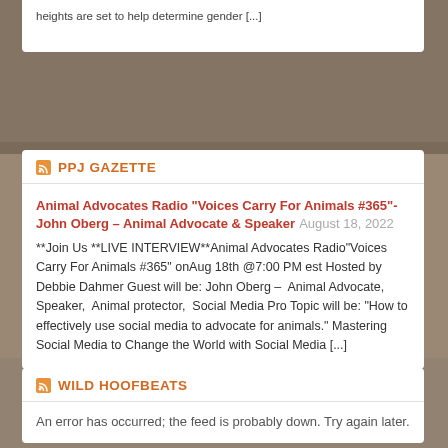heights are set to help determine gender [...]
PPJ GAZETTE
Animal Advocates Radio "Voices Carry For Animals #365"- John Oberg – Animal Advocate & Speaker
August 18, 2022
**Join Us **LIVE INTERVIEW**Animal Advocates Radio"Voices Carry For Animals #365" onAug 18th @7:00 PM est Hosted by Debbie Dahmer Guest will be: John Oberg – Animal Advocate, Speaker, Animal protector, Social Media Pro Topic will be: "How to effectively use social media to advocate for animals." Mastering Social Media to Change the World with Social Media [...]
WILD HOOFBEATS
An error has occurred; the feed is probably down. Try again later.